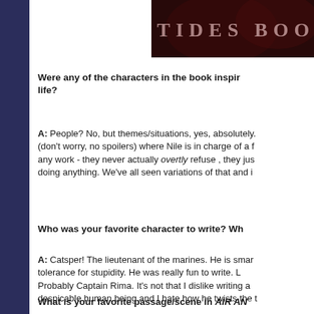[Figure (photo): Book cover image showing dark red background with partial text 'TIDES BOO']
Were any of the characters in the book inspired by people in real life?
A: People? No, but themes/situations, yes, absolutely. There is a scene (don't worry, no spoilers) where Nile is in charge of a team assigned any work - they never actually overtly refuse , they just avoid doing anything. We've all seen variations of that and i
Who was your favorite character to write? Wh
A: Catsper! The lieutenant of the marines. He is smart, with zero tolerance for stupidity. He was really fun to write. L Probably Captain Rima. It's not that I dislike writing a despicable human being and I hate how he twists the t
What is your favorite passage/scene in AIR AN